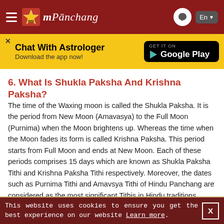mPanchang
[Figure (screenshot): mPanchang website header with hamburger menu, logo, chat bubble icon, and language selector (En)]
[Figure (infographic): Yellow banner ad: Chat With Astrologer - Download the app now! with Google Play button]
6. What Is Shukla Paksha And Krishna Paksha?
The time of the Waxing moon is called the Shukla Paksha. It is the period from New Moon (Amavasya) to the Full Moon (Purnima) when the Moon brightens up. Whereas the time when the Moon fades its form is called Krishna Paksha. This period starts from Full Moon and ends at New Moon. Each of these periods comprises 15 days which are known as Shukla Paksha Tithi and Krishna Paksha Tithi respectively. Moreover, the dates such as Purnima Tithi and Amavsya Tithi of Hindu Panchang are considered as the most significant Tithis in Hindu traditions.
This website uses cookies to ensure you get the best experience on our website Learn more. X